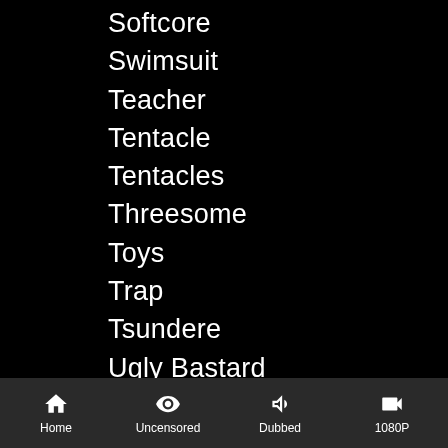Softcore
Swimsuit
Teacher
Tentacle
Tentacles
Threesome
Toys
Trap
Tsundere
Ugly Bastard
Uncensored
Vanilla
Virgin
X-ray
Home | Uncensored | Dubbed | 1080P